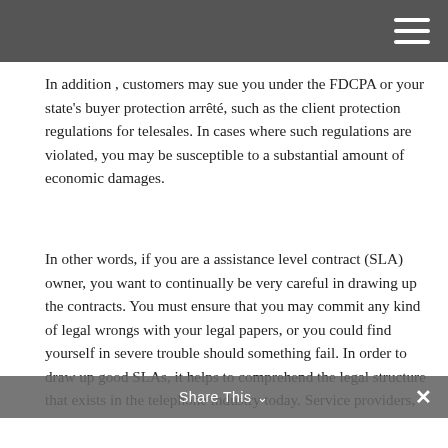In addition , customers may sue you under the FDCPA or your state's buyer protection arrêté, such as the client protection regulations for telesales. In cases where such regulations are violated, you may be susceptible to a substantial amount of economic damages.
In other words, if you are a assistance level contract (SLA) owner, you want to continually be very careful in drawing up the contracts. You must ensure that you may commit any kind of legal wrongs with your legal papers, or you could find yourself in severe trouble should something fail. In order to draw up good SLAs, it helps to comprehend the legal structure that exists in the telephone industry today. Service providers, also referred to as network companies (NSPs), must abide
Share This ×